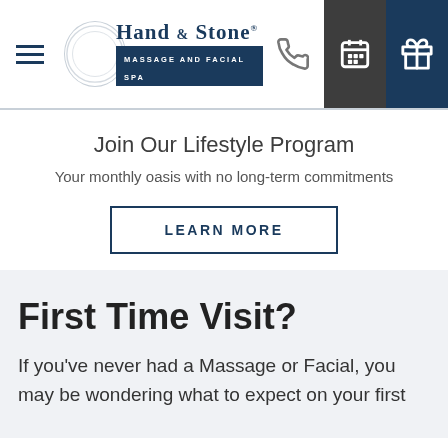Hand & Stone Massage and Facial Spa — navigation header with hamburger menu, logo, phone icon, calendar icon, gift icon
Join Our Lifestyle Program
Your monthly oasis with no long-term commitments
LEARN MORE
First Time Visit?
If you've never had a Massage or Facial, you may be wondering what to expect on your first